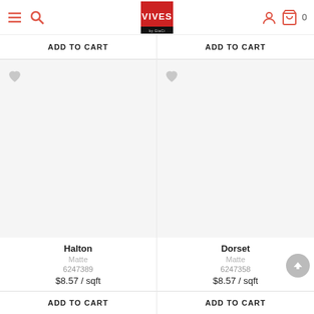VIVES by GiaCi - Navigation header with menu, search, logo, user, cart (0)
ADD TO CART
ADD TO CART
[Figure (other): Product image placeholder for Halton tile]
[Figure (other): Product image placeholder for Dorset tile]
Halton
Matte
6247389
$8.57 / sqft
Dorset
Matte
6247358
$8.57 / sqft
ADD TO CART
ADD TO CART